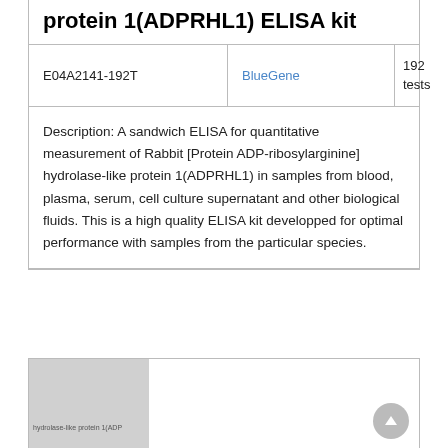protein 1(ADPRHL1) ELISA kit
| Product ID | Supplier | Quantity | Price |
| --- | --- | --- | --- |
| E04A2141-192T | BlueGene | 192 tests | EUR 1270 |
Description: A sandwich ELISA for quantitative measurement of Rabbit [Protein ADP-ribosylarginine] hydrolase-like protein 1(ADPRHL1) in samples from blood, plasma, serum, cell culture supernatant and other biological fluids. This is a high quality ELISA kit developped for optimal performance with samples from the particular species.
[Figure (photo): Partial image section showing a gray placeholder image on the left side and white space on the right, with a scroll-up button in the bottom right corner.]